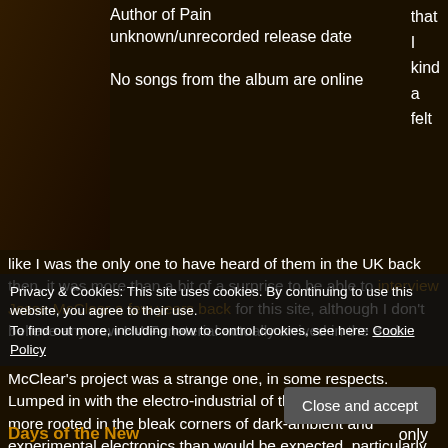Author of Pain
unknown/unrecorded release date
No songs from the album are online
that
I
kind
a
felt
like I was the only one to have heard of them in the UK back then, it was more than a bit of a surprise to be able to interview Jesse McClear a few years back for this site, although I don't believe any new HWF material actually arrived in the end.
McClear's project was a strange one, in some respects. Lumped in with the electro-industrial of the time, it was far more rooted in the bleak corners of dark-ambient and experimental electronics than would be expected, particularly in the litany of remixes that followed. There
Privacy & Cookies: This site uses cookies. By continuing to use this website, you agree to their use.
To find out more, including how to control cookies, see here: Cookie Policy
Close and accept
Days of the New
only